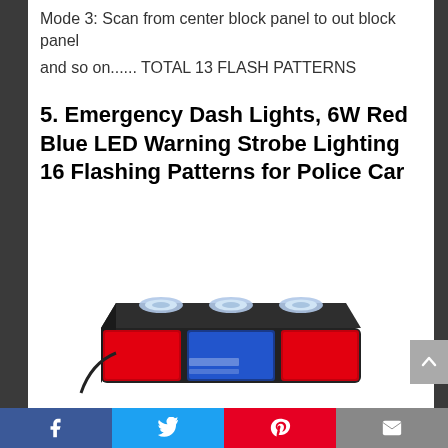Mode 3: Scan from center block panel to out block panel
and so on...... TOTAL 13 FLASH PATTERNS
5. Emergency Dash Lights, 6W Red Blue LED Warning Strobe Lighting 16 Flashing Patterns for Police Car
[Figure (photo): Photo of an emergency dash light bar — a black rectangular light bar with red LED panels and suction cup mounts on top, viewed from a front-top angle.]
Facebook | Twitter | Pinterest | Email